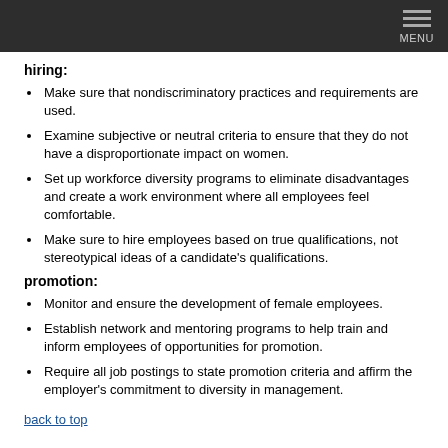MENU
hiring:
Make sure that nondiscriminatory practices and requirements are used.
Examine subjective or neutral criteria to ensure that they do not have a disproportionate impact on women.
Set up workforce diversity programs to eliminate disadvantages and create a work environment where all employees feel comfortable.
Make sure to hire employees based on true qualifications, not stereotypical ideas of a candidate's qualifications.
promotion:
Monitor and ensure the development of female employees.
Establish network and mentoring programs to help train and inform employees of opportunities for promotion.
Require all job postings to state promotion criteria and affirm the employer's commitment to diversity in management.
back to top